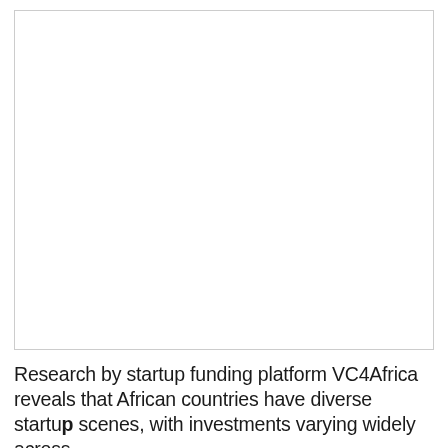[Figure (other): Blank white rectangle with a light gray border — placeholder image area]
Research by startup funding platform VC4Africa reveals that African countries have diverse startup scenes, with investments varying widely across